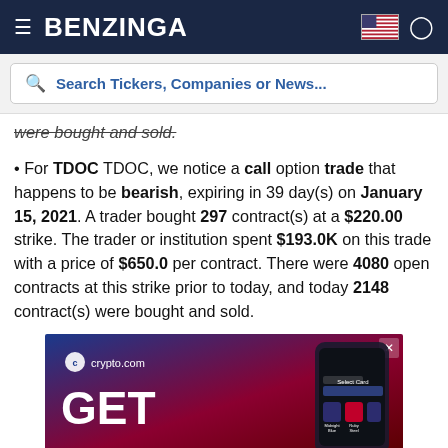BENZINGA
Search Tickers, Companies or News...
were bought and sold.
For TDOC TDOC, we notice a call option trade that happens to be bearish, expiring in 39 day(s) on January 15, 2021. A trader bought 297 contract(s) at a $220.00 strike. The trader or institution spent $193.0K on this trade with a price of $650.0 per contract. There were 4080 open contracts at this strike prior to today, and today 2148 contract(s) were bought and sold.
[Figure (other): crypto.com advertisement banner with GET text and phone mockup]